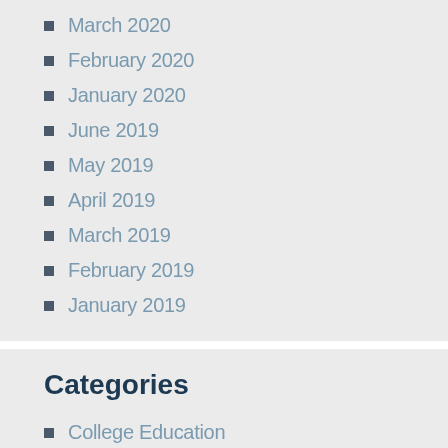March 2020
February 2020
January 2020
June 2019
May 2019
April 2019
March 2019
February 2019
January 2019
Categories
College Education
Education Definition
Education Kindergarten